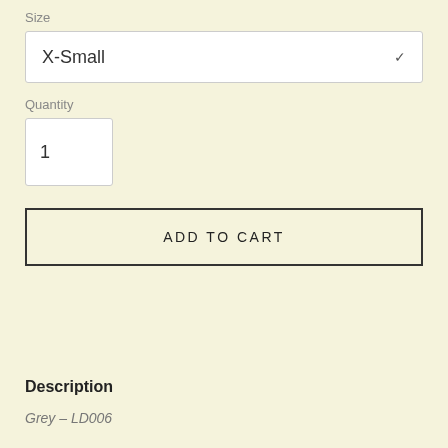Size
X-Small
Quantity
1
ADD TO CART
Description
Grey – LD006